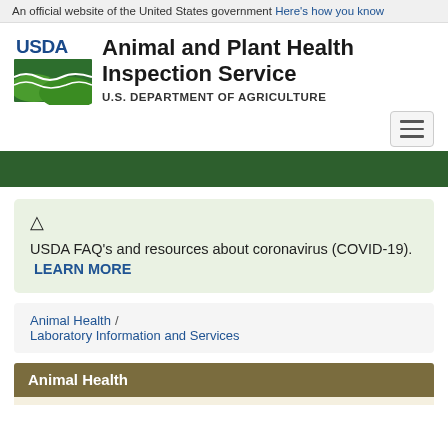An official website of the United States government  Here's how you know
[Figure (logo): USDA Animal and Plant Health Inspection Service logo with green field graphic and USDA text]
Animal and Plant Health Inspection Service
U.S. DEPARTMENT OF AGRICULTURE
[Figure (other): Hamburger/toggle navigation menu button]
[Figure (other): Dark green navigation bar]
USDA FAQ's and resources about coronavirus (COVID-19).  LEARN MORE
Animal Health  /  Laboratory Information and Services
Animal Health